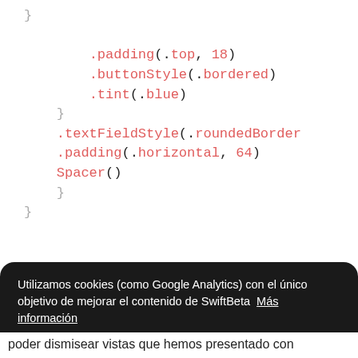[Figure (screenshot): Code snippet showing Swift UI code with methods .padding(.top, 18), .buttonStyle(.bordered), .tint(.blue), closing braces, .textFieldStyle(.roundedBorder, .padding(.horizontal, 64), Spacer(), and closing braces]
Utilizamos cookies (como Google Analytics) con el único objetivo de mejorar el contenido de SwiftBeta  Más información
Rechazar    Permitir cookies
poder dismisear vistas que hemos presentado con